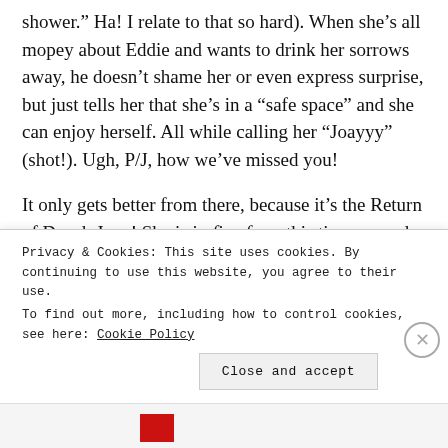shower.” Ha! I relate to that so hard). When she’s all mopey about Eddie and wants to drink her sorrows away, he doesn’t shame her or even express surprise, but just tells her that she’s in a “safe space” and she can enjoy herself. All while calling her “Joayyy” (shot!). Ugh, P/J, how we’ve missed you!
It only gets better from there, because it’s the Return of Drunk Joey! She is in fine form this time around, not only doing her trademark hilarious facial expressions and open-mouthed laughter, but also spilling everyone’s secrets. She tells David that, Jack
Privacy & Cookies: This site uses cookies. By continuing to use this website, you agree to their use.
To find out more, including how to control cookies, see here: Cookie Policy
Close and accept